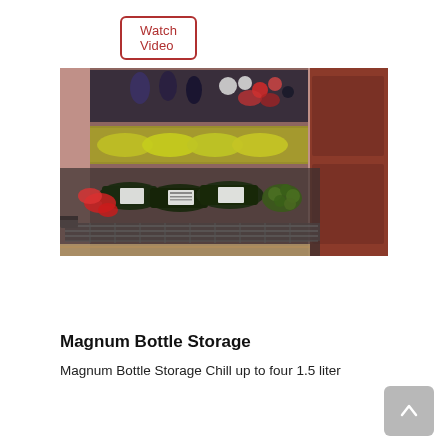Watch Video
[Figure (photo): A wine cooler refrigerator with an open pull-out drawer showing wine bottles stored horizontally, with additional bottles and fresh produce visible on shelves above. The unit is set against a dark red/burgundy cabinetry background.]
Magnum Bottle Storage
Magnum Bottle Storage Chill up to four 1.5 liter